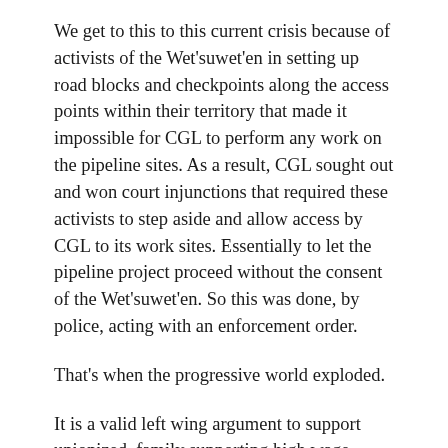We get to this to this current crisis because of activists of the Wet'suwet'en in setting up road blocks and checkpoints along the access points within their territory that made it impossible for CGL to perform any work on the pipeline sites. As a result, CGL sought out and won court injunctions that required these activists to step aside and allow access by CGL to its work sites. Essentially to let the pipeline project proceed without the consent of the Wet'suwet'en. So this was done, by police, acting with an enforcement order.
That's when the progressive world exploded.
It is a valid left wing argument to support unionized, family supporting high wage careers in resource development. Jobs that pay very substantial levels of taxes that support public healthcare, education, highways and the social safety net. Jobs